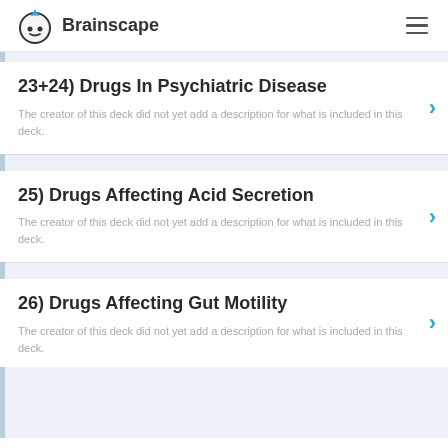Brainscape
23+24) Drugs In Psychiatric Disease
The creator of this deck did not yet add a description for what is included in this deck.
25) Drugs Affecting Acid Secretion
The creator of this deck did not yet add a description for what is included in this deck.
26) Drugs Affecting Gut Motility
The creator of this deck did not yet add a description for what is included in this deck.